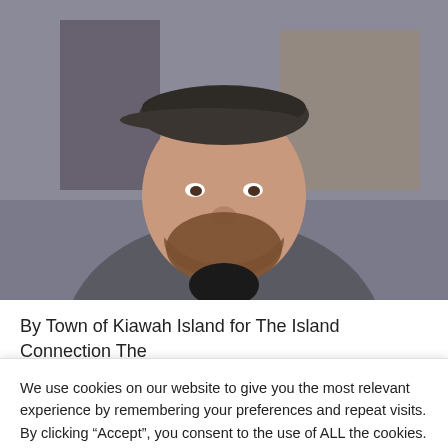[Figure (photo): Headshot of a bearded man wearing a dark flat cap and dark grey polo shirt, smiling slightly, photographed against a blurred indoor/outdoor background.]
By Town of Kiawah Island for The Island Connection The
We use cookies on our website to give you the most relevant experience by remembering your preferences and repeat visits. By clicking “Accept”, you consent to the use of ALL the cookies.
Cookie settings
ACCEPT